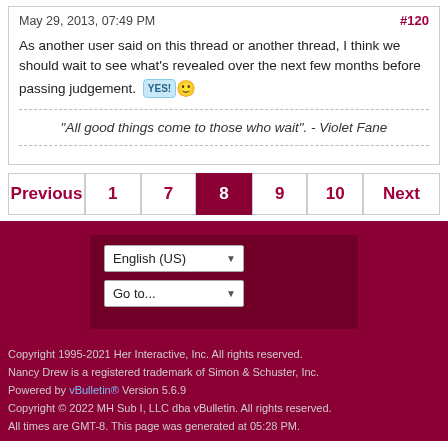May 29, 2013, 07:49 PM
#120
As another user said on this thread or another thread, I think we should wait to see what's revealed over the next few months before passing judgement. [YES!] :)
"All good things come to those who wait". - Violet Fane
Previous 1 7 8 9 10 Next
English (US)
Go to...
Copyright 1995-2021 Her Interactive, Inc. All rights reserved. Nancy Drew is a registered trademark of Simon & Schuster, Inc. Powered by vBulletin® Version 5.6.9 Copyright © 2022 MH Sub I, LLC dba vBulletin. All rights reserved. All times are GMT-8. This page was generated at 05:28 PM.